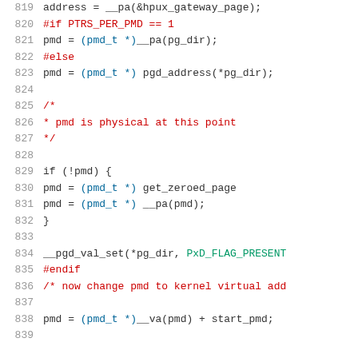[Figure (screenshot): Source code listing (C/kernel code) showing lines 819-839 with syntax highlighting. Line numbers in grey on left, code with colored tokens on right.]